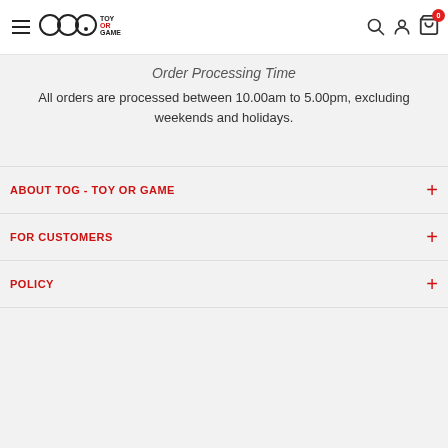TOG - TOY OR GAME (navigation header with logo, search, account, cart)
Order Processing Time
All orders are processed between 10.00am to 5.00pm, excluding weekends and holidays.
ABOUT TOG - TOY OR GAME
FOR CUSTOMERS
POLICY